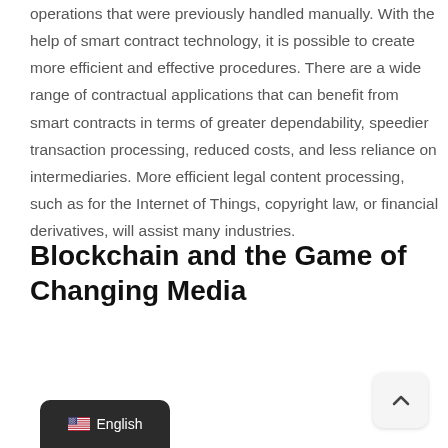operations that were previously handled manually. With the help of smart contract technology, it is possible to create more efficient and effective procedures. There are a wide range of contractual applications that can benefit from smart contracts in terms of greater dependability, speedier transaction processing, reduced costs, and less reliance on intermediaries. More efficient legal content processing, such as for the Internet of Things, copyright law, or financial derivatives, will assist many industries.
Blockchain and the Game of Changing Media